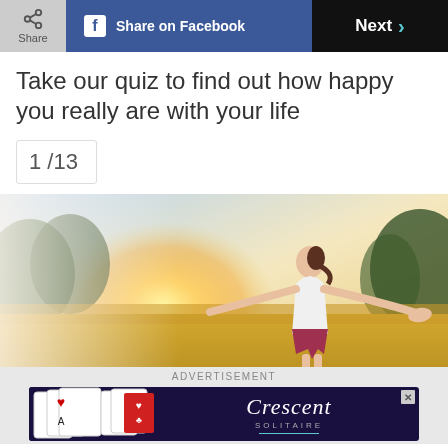Share | Share on Facebook | Next >
Take our quiz to find out how happy you really are with your life
1 /13
[Figure (photo): Woman in white tank top standing in a golden field with arms outstretched, sunlight glowing behind her, trees in background]
ADVERTISEMENT
[Figure (screenshot): Advertisement banner for Crescent Solitaire card game, showing playing cards on the left and Crescent Solitaire logo text on dark background]